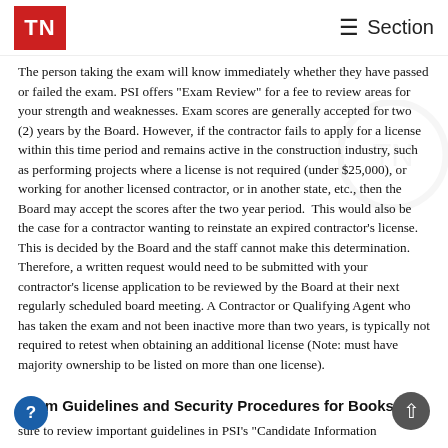TN   ≡ Section
The person taking the exam will know immediately whether they have passed or failed the exam. PSI offers "Exam Review" for a fee to review areas for your strength and weaknesses. Exam scores are generally accepted for two (2) years by the Board. However, if the contractor fails to apply for a license within this time period and remains active in the construction industry, such as performing projects where a license is not required (under $25,000), or working for another licensed contractor, or in another state, etc., then the Board may accept the scores after the two year period.  This would also be the case for a contractor wanting to reinstate an expired contractor's license. This is decided by the Board and the staff cannot make this determination.  Therefore, a written request would need to be submitted with your contractor's license application to be reviewed by the Board at their next regularly scheduled board meeting. A Contractor or Qualifying Agent who has taken the exam and not been inactive more than two years, is typically not required to retest when obtaining an additional license (Note: must have majority ownership to be listed on more than one license).
Exam Guidelines and Security Procedures for Books
sure to review important guidelines in PSI's "Candidate Information